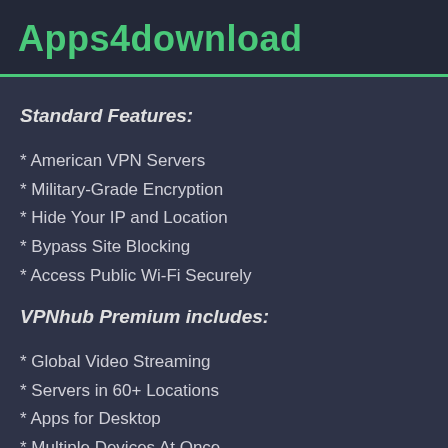Apps4download
Standard Features:
* American VPN Servers
* Military-Grade Encryption
* Hide Your IP and Location
* Bypass Site Blocking
* Access Public Wi-Fi Securely
VPNhub Premium includes:
* Global Video Streaming
* Servers in 60+ Locations
* Apps for Desktop
* Multiple Devices At Once
* Top Speeds & Zero Data Caps